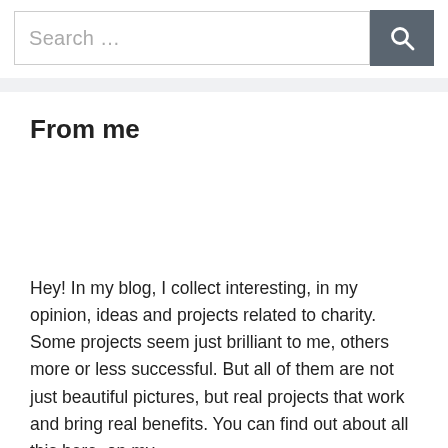Search …
From me
Hey! In my blog, I collect interesting, in my opinion, ideas and projects related to charity. Some projects seem just brilliant to me, others more or less successful. But all of them are not just beautiful pictures, but real projects that work and bring real benefits. You can find out about all this here, on my…